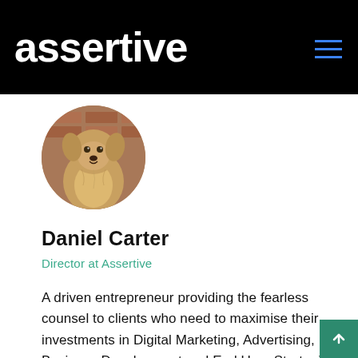assertive
[Figure (photo): Circular profile photo of a dog (fluffy, light brown/tan colored) in front of a brick wall background]
Daniel Carter
Director at Assertive
A driven entrepreneur providing the fearless counsel to clients who need to maximise their investments in Digital Marketing, Advertising, Business Development and End User Strategies. Twenty years of SEO experience – and still learning.